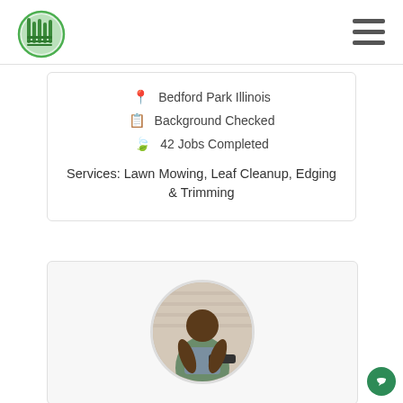[Figure (logo): Green lawn care service logo with stylized grass/rake icon]
[Figure (illustration): Hamburger menu icon with three horizontal dark bars]
Bedford Park Illinois
Background Checked
42 Jobs Completed
Services: Lawn Mowing, Leaf Cleanup, Edging & Trimming
[Figure (photo): Circular profile photo of a man holding a chainsaw outdoors]